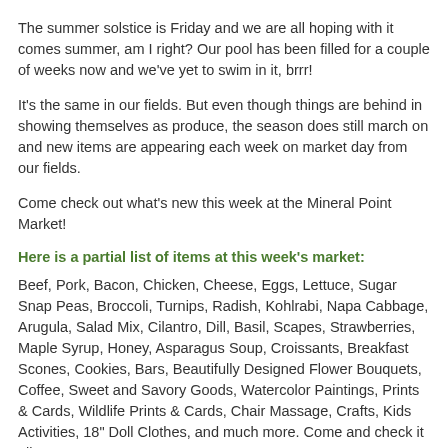The summer solstice is Friday and we are all hoping with it comes summer, am I right? Our pool has been filled for a couple of weeks now and we've yet to swim in it, brrr!
It's the same in our fields. But even though things are behind in showing themselves as produce, the season does still march on and new items are appearing each week on market day from our fields.
Come check out what's new this week at the Mineral Point Market!
Here is a partial list of items at this week's market:
Beef, Pork, Bacon, Chicken, Cheese, Eggs, Lettuce, Sugar Snap Peas, Broccoli, Turnips, Radish, Kohlrabi, Napa Cabbage, Arugula, Salad Mix, Cilantro, Dill, Basil, Scapes, Strawberries, Maple Syrup, Honey, Asparagus Soup, Croissants, Breakfast Scones, Cookies, Bars, Beautifully Designed Flower Bouquets, Coffee, Sweet and Savory Goods, Watercolor Paintings, Prints & Cards, Wildlife Prints & Cards, Chair Massage, Crafts, Kids Activities, 18" Doll Clothes, and much more. Come and check it all out!
We look forward to seeing you this Saturday in Water Tower Park, Business 151 at Madison Street, Mineral Point! 8:30 to 11:00 a.m.
Kathy Bures
Co-Manager
Mineral Point Market